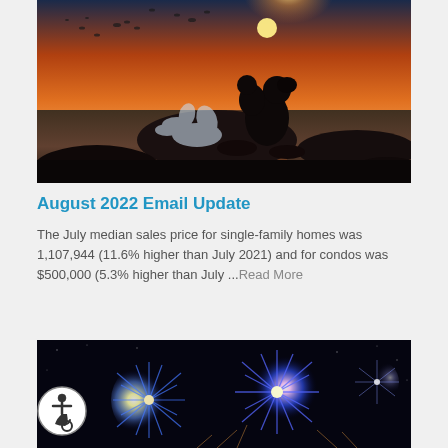[Figure (photo): Silhouette of a person holding a child by the ocean at sunset with orange sky and water splashing]
August 2022 Email Update
The July median sales price for single-family homes was 1,107,944 (11.6% higher than July 2021) and for condos was $500,000 (5.3% higher than July ... Read More
[Figure (photo): Blue fireworks display against a dark night sky with colorful bursts]